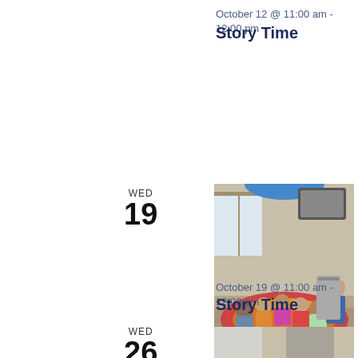October 12 @ 11:00 am - 12:00 pm
Story Time
[Figure (photo): Children sitting on a colorful alphabet rug on the floor listening to a woman reading a book aloud in a library or classroom setting.]
October 19 @ 11:00 am - 12:00 pm
Story Time
[Figure (photo): Partial view of another story time session, showing a similar room with children.]